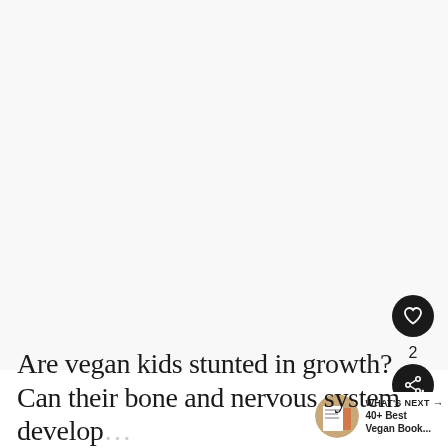[Figure (photo): Large white/light gray image area at top of article page, likely a photo that did not load or is blank]
[Figure (illustration): Black circular heart/like button icon]
2
[Figure (illustration): Black circular share button icon]
[Figure (photo): Small circular thumbnail of a book/vegan cookbook image for What's Next section]
WHAT'S NEXT → 40+ Best Vegan Book...
Are vegan kids stunted in growth? Can their bone and nervous system develop...